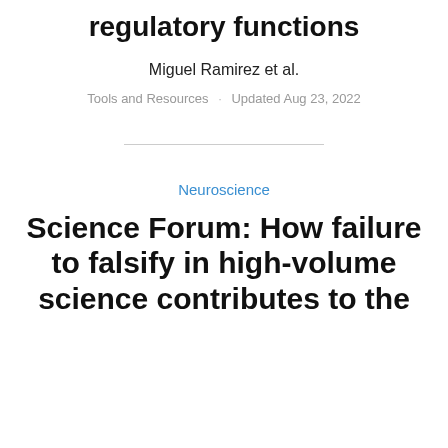regulatory functions
Miguel Ramirez et al.
Tools and Resources · Updated Aug 23, 2022
Neuroscience
Science Forum: How failure to falsify in high-volume science contributes to the